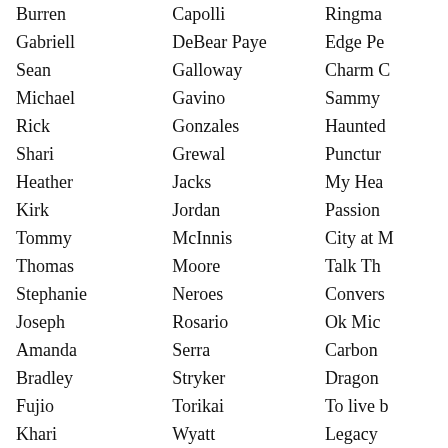| First Name | Last Name | Title |
| --- | --- | --- |
| Burren | Capolli | Ringma... |
| Gabriell | DeBear Paye | Edge Pe... |
| Sean | Galloway | Charm C... |
| Michael | Gavino | Sammy ... |
| Rick | Gonzales | Haunted... |
| Shari | Grewal | Punctur... |
| Heather | Jacks | My Hea... |
| Kirk | Jordan | Passion... |
| Tommy | McInnis | City at M... |
| Thomas | Moore | Talk Th... |
| Stephanie | Neroes | Convers... |
| Joseph | Rosario | Ok Mic... |
| Amanda | Serra | Carbon ... |
| Bradley | Stryker | Dragon ... |
| Fujio | Torikai | To live b... |
| Khari | Wyatt | Legacy ... |
| Alfredo | Bravo de Rueda | The Fab... |
| Gerald | Chong | Paradise... |
| Casey | Geisen | The Mu... |